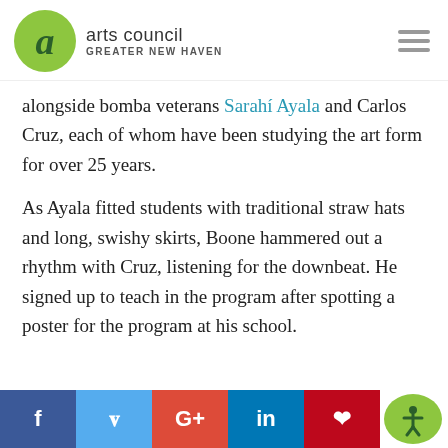arts council GREATER NEW HAVEN
alongside bomba veterans Sarahí Ayala and Carlos Cruz, each of whom have been studying the art form for over 25 years.
As Ayala fitted students with traditional straw hats and long, swishy skirts, Boone hammered out a rhythm with Cruz, listening for the downbeat. He signed up to teach in the program after spotting a poster for the program at his school.
f  t  G+  in  p  [accessibility]